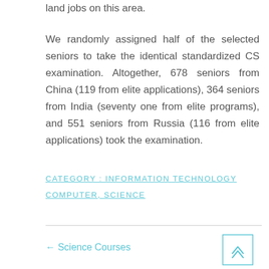land jobs on this area.
We randomly assigned half of the selected seniors to take the identical standardized CS examination. Altogether, 678 seniors from China (119 from elite applications), 364 seniors from India (seventy one from elite programs), and 551 seniors from Russia (116 from elite applications) took the examination.
CATEGORY : INFORMATION TECHNOLOGY
COMPUTER, SCIENCE
← Science Courses